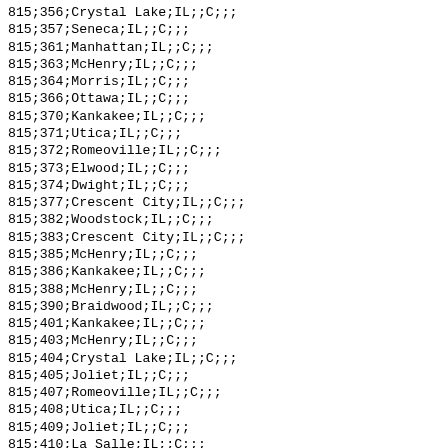| 815;356;Crystal Lake;IL;;C;;; |
| 815;357;Seneca;IL;;C;;; |
| 815;361;Manhattan;IL;;C;;; |
| 815;363;McHenry;IL;;C;;; |
| 815;364;Morris;IL;;C;;; |
| 815;366;Ottawa;IL;;C;;; |
| 815;370;Kankakee;IL;;C;;; |
| 815;371;Utica;IL;;C;;; |
| 815;372;Romeoville;IL;;C;;; |
| 815;373;Elwood;IL;;C;;; |
| 815;374;Dwight;IL;;C;;; |
| 815;377;Crescent City;IL;;C;;; |
| 815;382;Woodstock;IL;;C;;; |
| 815;383;Crescent City;IL;;C;;; |
| 815;385;McHenry;IL;;C;;; |
| 815;386;Kankakee;IL;;C;;; |
| 815;388;McHenry;IL;;C;;; |
| 815;390;Braidwood;IL;;C;;; |
| 815;401;Kankakee;IL;;C;;; |
| 815;403;McHenry;IL;;C;;; |
| 815;404;Crystal Lake;IL;;C;;; |
| 815;405;Joliet;IL;;C;;; |
| 815;407;Romeoville;IL;;C;;; |
| 815;408;Utica;IL;;C;;; |
| 815;409;Joliet;IL;;C;;; |
| 815;410;La Salle;IL;;C;;; |
| 815;412;Frankfort;IL;;C;;; |
| 815;413;Morris;IL;;C;;; |
| 815;415;Seneca;IL;;C;;; |
| 815;416;Morris;IL;;C;;; |